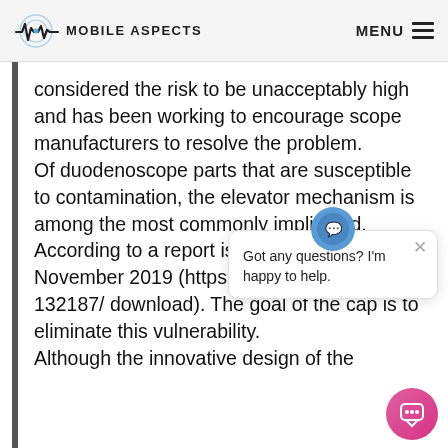MOBILE ASPECTS   MENU
considered the risk to be unacceptably high and has been working to encourage scope manufacturers to resolve the problem.
Of duodenoscope parts that are susceptible to contamination, the elevator mechanism is among the most commonly implicated. According to a report issued by the FDA in November 2019 (https://www.fda.gov/media/132187/ download). The goal of the cap is to eliminate this vulnerability.
Although the innovative design of the